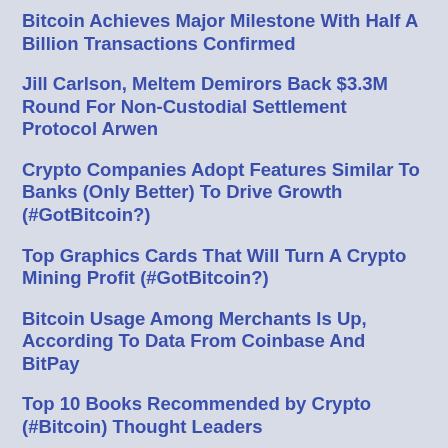Bitcoin Achieves Major Milestone With Half A Billion Transactions Confirmed
Jill Carlson, Meltem Demirors Back $3.3M Round For Non-Custodial Settlement Protocol Arwen
Crypto Companies Adopt Features Similar To Banks (Only Better) To Drive Growth (#GotBitcoin?)
Top Graphics Cards That Will Turn A Crypto Mining Profit (#GotBitcoin?)
Bitcoin Usage Among Merchants Is Up, According To Data From Coinbase And BitPay
Top 10 Books Recommended by Crypto (#Bitcoin) Thought Leaders
Twitter Adds Bitcoin Emoji, Jack Dorsey Suggests Unicode Does The Same